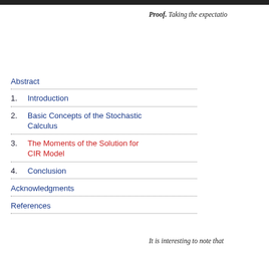Proof. Taking the expectatio
Abstract
1. Introduction
2. Basic Concepts of the Stochastic Calculus
3. The Moments of the Solution for CIR Model
4. Conclusion
Acknowledgments
References
It is interesting to note that